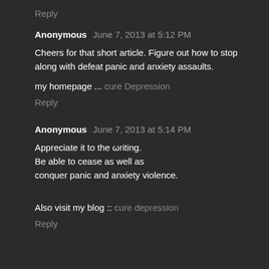Reply
Anonymous June 7, 2013 at 5:12 PM
Cheers for that short article. Figure out how to stop along with defeat panic and anxiety assaults.
my homepage ... cure Depression
Reply
Anonymous June 7, 2013 at 5:14 PM
Appreciate it to the writing.
Be able to cease as well as conquer panic and anxiety violence.
Also visit my blog :: cure depression
Reply